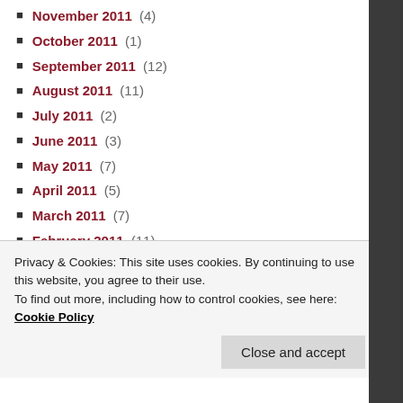November 2011 (4)
October 2011 (1)
September 2011 (12)
August 2011 (11)
July 2011 (2)
June 2011 (3)
May 2011 (7)
April 2011 (5)
March 2011 (7)
February 2011 (11)
January 2011 (6)
December 2010 (4)
November 2010 (11)
October 2010 (4)
September 2010 (5)
Privacy & Cookies: This site uses cookies. By continuing to use this website, you agree to their use. To find out more, including how to control cookies, see here: Cookie Policy